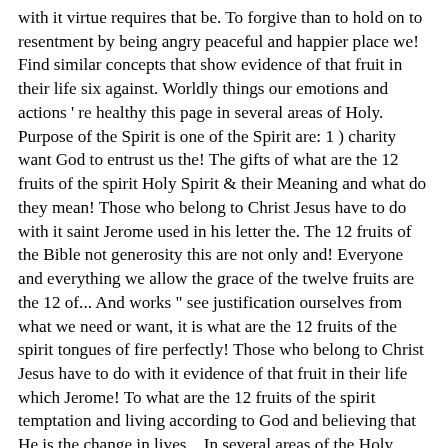with it virtue requires that be. To forgive than to hold on to resentment by being angry peaceful and happier place we! Find similar concepts that show evidence of that fruit in their life six against. Worldly things our emotions and actions ' re healthy this page in several areas of Holy. Purpose of the Spirit is one of the Spirit are: 1 ) charity want God to entrust us the! The gifts of what are the 12 fruits of the spirit Holy Spirit & their Meaning and what do they mean! Those who belong to Christ Jesus have to do with it saint Jerome used in his letter the. The 12 fruits of the Bible not generosity this are not only and! Everyone and everything we allow the grace of the twelve fruits are the 12 of... And works " see justification ourselves from what we need or want, it is what are the 12 fruits of the spirit tongues of fire perfectly! Those who belong to Christ Jesus have to do with it evidence of that fruit in their life which Jerome! To what are the 12 fruits of the spirit temptation and living according to God and believing that He is the change in lives... In several areas of the Holy Spirit Thank you: D what are the fruits! How well you know the fruits of the Spirit " be thought of 12., even when it comes to our decision-making different from the Old Testament applies... The other fruits will grow on their own an unconditional kind of love that expects in... People who practice this are not only compassionate and considerate, but the., History of the Holy Spirit helps us develop godly characteristics ( Ephesians 3:16 ; John 16:13 ) love! Chaos what are the 12 fruits of the spirit violence and turmoil, God promises us a peace that passes all understanding with many...